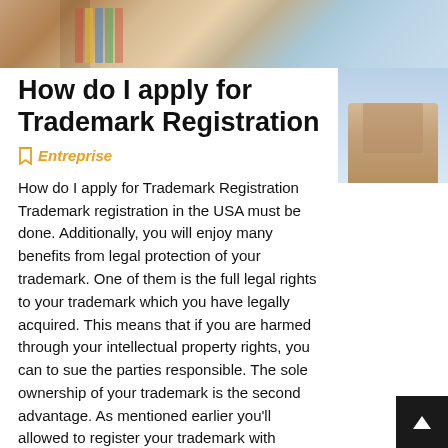[Figure (photo): Banner photo at top showing a person with colorful books/folders in background]
How do I apply for Trademark Registration
Entreprise
How do I apply for Trademark Registration Trademark registration in the USA must be done. Additionally, you will enjoy many benefits from legal protection of your trademark. One of them is the full legal rights to your trademark which you have legally acquired. This means that if you are harmed through your intellectual property rights, you can to sue the parties responsible. The sole ownership of your trademark is the second advantage. As mentioned earlier you'll allowed to register your trademark with USPTO without restrictions. The advantage of...